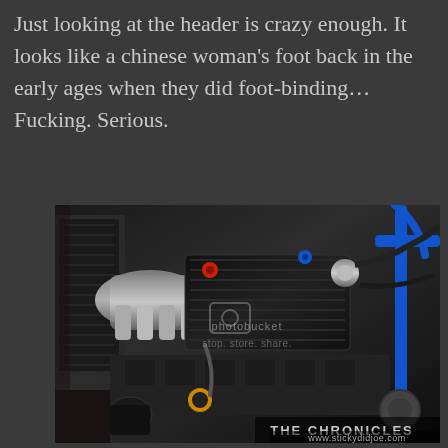Just looking at the header is crazy enough. It looks like a chinese woman's foot back in the early ages when they did foot-binding… Fucking. Serious.
[Figure (photo): Close-up photograph of a modified car engine bay showing a polished intake manifold, carbon fiber valve cover, blue strut bar, and various performance parts. A photobucket watermark is visible in the center. Bottom right shows 'THE CHRONICLES' branding and www.stickydidjoe.com URL.]